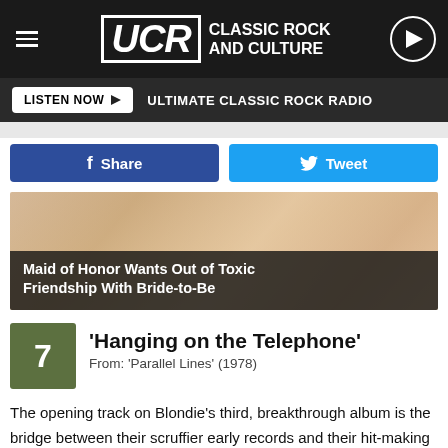UCR CLASSIC ROCK AND CULTURE
LISTEN NOW ▶ ULTIMATE CLASSIC ROCK RADIO
Share   Tweet
[Figure (photo): Close-up of a woman's shoulder in a white lace dress, with overlay text: Maid of Honor Wants Out of Toxic Friendship With Bride-to-Be]
Maid of Honor Wants Out of Toxic Friendship With Bride-to-Be
7  'Hanging on the Telephone'
From: 'Parallel Lines' (1978)
The opening track on Blondie's third, breakthrough album is the bridge between their scruffier early records and their hit-making period, which was right around the corner. "Hanging